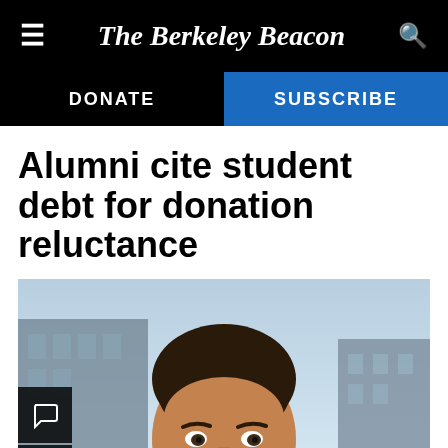The Berkeley Beacon
Alumni cite student debt for donation reluctance
[Figure (photo): Headshot of a young man with dark slicked-back hair, slight beard, wearing dark clothing, photographed outdoors with blurred city buildings in the background.]